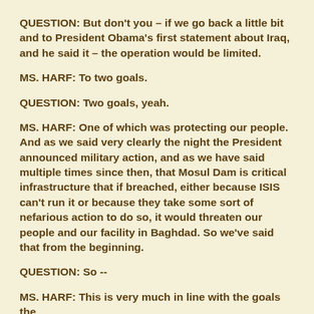QUESTION: But don't you – if we go back a little bit and to President Obama's first statement about Iraq, and he said it – the operation would be limited.
MS. HARF: To two goals.
QUESTION: Two goals, yeah.
MS. HARF: One of which was protecting our people. And as we said very clearly the night the President announced military action, and as we have said multiple times since then, that Mosul Dam is critical infrastructure that if breached, either because ISIS can't run it or because they take some sort of nefarious action to do so, it would threaten our people and our facility in Baghdad. So we've said that from the beginning.
QUESTION: So --
MS. HARF: This is very much in line with the goals the